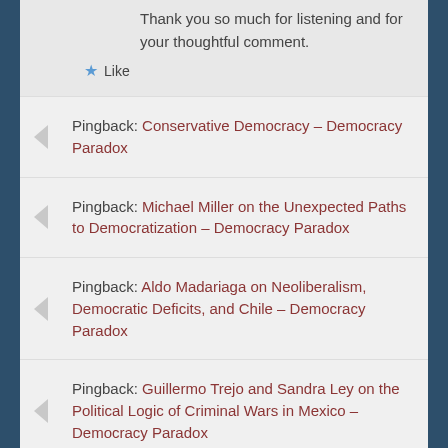Thank you so much for listening and for your thoughtful comment.
Like
Pingback: Conservative Democracy – Democracy Paradox
Pingback: Michael Miller on the Unexpected Paths to Democratization – Democracy Paradox
Pingback: Aldo Madariaga on Neoliberalism, Democratic Deficits, and Chile – Democracy Paradox
Pingback: Guillermo Trejo and Sandra Ley on the Political Logic of Criminal Wars in Mexico – Democracy Paradox
Pingback: Amory Gethin on Political